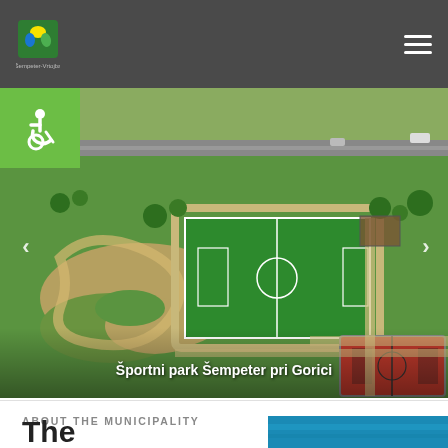Šempeter-Vrtojba Municipality website header with logo and navigation menu
[Figure (photo): Aerial drone photo of Športni park Šempeter pri Gorici showing a green artificial turf football pitch, a red basketball/sports court, a pump track with sandy trails, green lawns, roads and surrounding urban area. A green accessibility icon is visible top-left. Navigation arrows (< >) are on the sides.]
Športni park Šempeter pri Gorici
ABOUT THE MUNICIPALITY
The